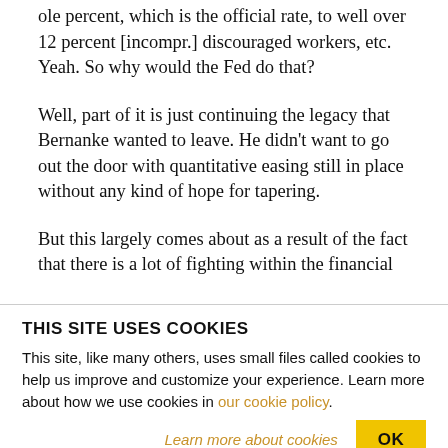ole percent, which is the official rate, to well over 12 percent [incompr.] discouraged workers, etc. Yeah. So why would the Fed do that?
Well, part of it is just continuing the legacy that Bernanke wanted to leave. He didn't want to go out the door with quantitative easing still in place without any kind of hope for tapering.
But this largely comes about as a result of the fact that there is a lot of fighting within the financial
THIS SITE USES COOKIES
This site, like many others, uses small files called cookies to help us improve and customize your experience. Learn more about how we use cookies in our cookie policy.
Learn more about cookies
OK